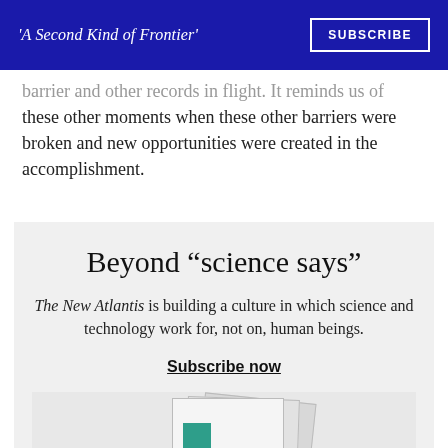'A Second Kind of Frontier' | SUBSCRIBE
barrier and other records in flight. It reminds us of these other moments when these other barriers were broken and new opportunities were created in the accomplishment.
Beyond “science says”
The New Atlantis is building a culture in which science and technology work for, not on, human beings.
Subscribe now
[Figure (illustration): Stack of New Atlantis magazine issues with a teal accent element]